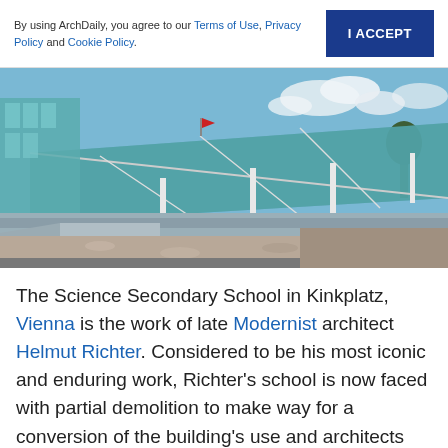By using ArchDaily, you agree to our Terms of Use, Privacy Policy and Cookie Policy.
[Figure (photo): Exterior photograph of the Science Secondary School in Kinkplatz, Vienna — a modern glass-facade building with steel structure, photographed on a sunny day with a gravel forecourt.]
The Science Secondary School in Kinkplatz, Vienna is the work of late Modernist architect Helmut Richter. Considered to be his most iconic and enduring work, Richter's school is now faced with partial demolition to make way for a conversion of the building's use and architects from around